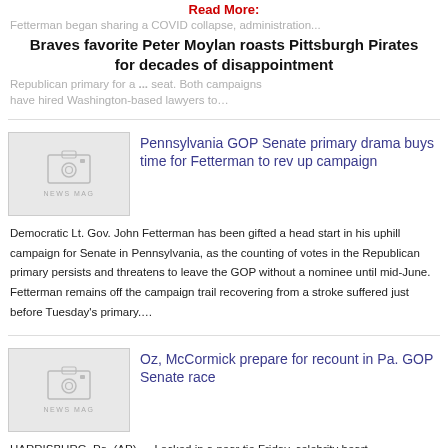Read More:
Fetterman began sharing a COVID collapse, administration...
Braves favorite Peter Moylan roasts Pittsburgh Pirates for decades of disappointment
Republican primary for a ... seat. Both campaigns have hired Washington-based lawyers to...
[Figure (illustration): News magazine thumbnail placeholder image with camera icon and text NEWS MAG]
Pennsylvania GOP Senate primary drama buys time for Fetterman to rev up campaign
Democratic Lt. Gov. John Fetterman has been gifted a head start in his uphill campaign for Senate in Pennsylvania, as the counting of votes in the Republican primary persists and threatens to leave the GOP without a nominee until mid-June. Fetterman remains off the campaign trail recovering from a stroke suffered just before Tuesday's primary....
[Figure (illustration): News magazine thumbnail placeholder image with camera icon and text NEWS MAG]
Oz, McCormick prepare for recount in Pa. GOP Senate race
HARRISBURG, Pa. (AP) — Locked in a near tie Friday, celebrity heart